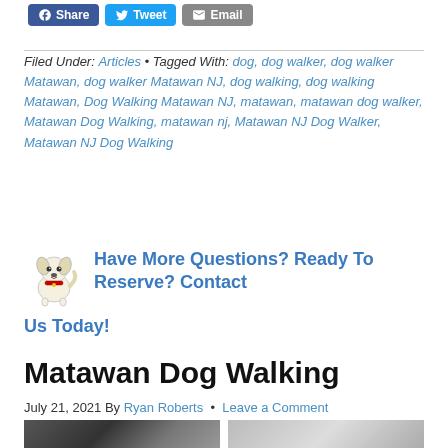[Figure (other): Social share buttons: Facebook Share, Tweet, Email]
Filed Under: Articles • Tagged With: dog, dog walker, dog walker Matawan, dog walker Matawan NJ, dog walking, dog walking Matawan, Dog Walking Matawan NJ, matawan, matawan dog walker, Matawan Dog Walking, matawan nj, Matawan NJ Dog Walker, Matawan NJ Dog Walking
[Figure (illustration): Cartoon dog character icon]
Have More Questions? Ready To Reserve? Contact Us Today!
Matawan Dog Walking
July 21, 2021 By Ryan Roberts · Leave a Comment
[Figure (photo): Two partially visible photos at bottom of page]